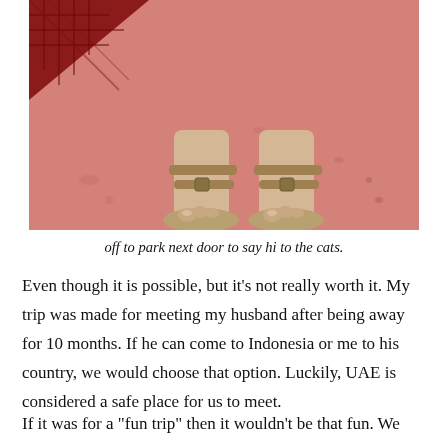[Figure (photo): Overhead view looking down at feet wearing tan/beige Birkenstock-style sandals on a pink/red textured floor. A dark red patterned fabric is visible in the upper left corner. The legs are bare/light skin tone.]
off to park next door to say hi to the cats.
Even though it is possible, but it's not really worth it. My trip was made for meeting my husband after being away for 10 months. If he can come to Indonesia or me to his country, we would choose that option. Luckily, UAE is considered a safe place for us to meet.
If it was for a "fun trip" then it wouldn't be that fun. We